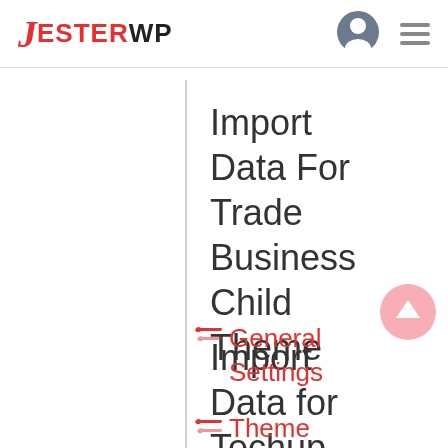JesterWP
Import Data For Trade Business Child Theme
Import Data for Techup Theme
General Settings
Theme